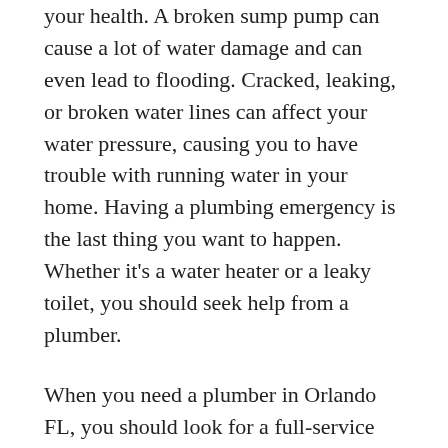your health. A broken sump pump can cause a lot of water damage and can even lead to flooding. Cracked, leaking, or broken water lines can affect your water pressure, causing you to have trouble with running water in your home. Having a plumbing emergency is the last thing you want to happen. Whether it's a water heater or a leaky toilet, you should seek help from a plumber.
When you need a plumber in Orlando FL, you should look for a full-service plumbing company. Companies like Choice Plumbing and Emerald Plumbing are local businesses with many years of experience. Their plumbers are highly qualified and can handle all types of plumbing needs. If you need a repipe, they specialize in that. In addition to offering great services, they also provide gas installation, sewer cleaning, and solar hot water systems. If you're looking for a plumber in Orlando, don't forget to check out their